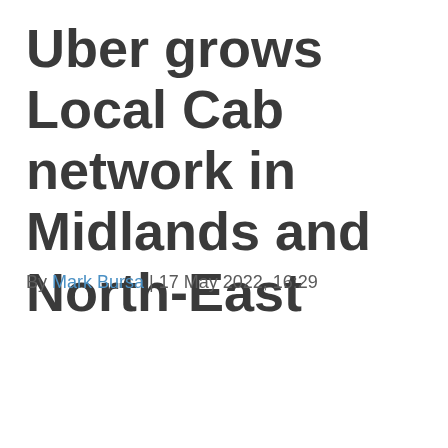Uber grows Local Cab network in Midlands and North-East
By Mark Bursa | 17 May 2022, 16:29